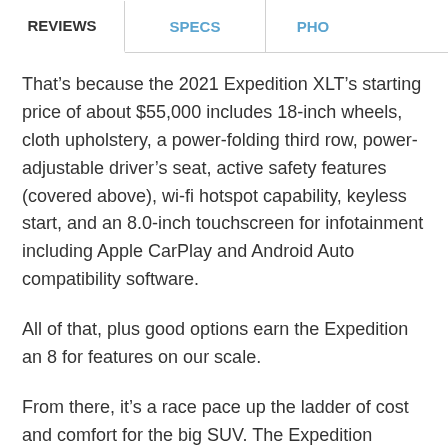REVIEWS | SPECS | PHO
That’s because the 2021 Expedition XLT’s starting price of about $55,000 includes 18-inch wheels, cloth upholstery, a power-folding third row, power-adjustable driver’s seat, active safety features (covered above), wi-fi hotspot capability, keyless start, and an 8.0-inch touchscreen for infotainment including Apple CarPlay and Android Auto compatibility software.
All of that, plus good options earn the Expedition an 8 for features on our scale.
From there, it’s a race pace up the ladder of cost and comfort for the big SUV. The Expedition Limited trim level